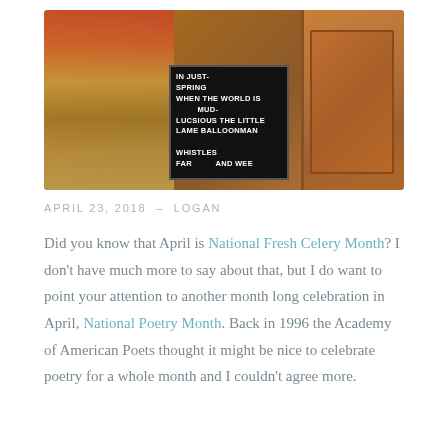[Figure (photo): Photo of a wooden wall/door with a black letter board displaying lines from a poem beginning with 'IN JUST- SPRING WHEN THE WORLD IS MUD- LUCSIOUS THE LITTLE LAME BALLOONMAN WHISTLES FAR AND WEE', surrounded by colorful decorations on the left.]
APRIL 23, 2018  –  LOGAN
Did you know that April is National Fresh Celery Month? I don't have much more to say about that, but I do want to point your attention to another month long celebration in April, National Poetry Month. Back in 1996 the Academy of American Poets thought it might be nice to celebrate poetry for a whole month and I couldn't agree more.